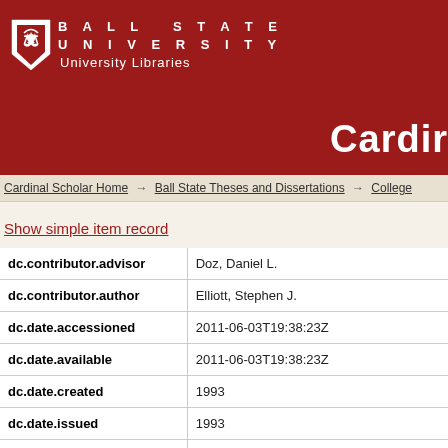[Figure (logo): Ball State University logo with shield and text 'BALL STATE UNIVERSITY University Libraries' on dark red background, with 'Cardin' text partially visible on right]
Cardinal Scholar Home → Ball State Theses and Dissertations → College
Show simple item record
| Field | Value |
| --- | --- |
| dc.contributor.advisor | Doz, Daniel L. |
| dc.contributor.author | Elliott, Stephen J. |
| dc.date.accessioned | 2011-06-03T19:38:23Z |
| dc.date.available | 2011-06-03T19:38:23Z |
| dc.date.created | 1993 |
| dc.date.issued | 1993 |
| dc.identifier | LD2489.Z52 1993 .E45 |
| dc.identifier.uri | http://cardinalscholar.bsu.edu/handle/hand |